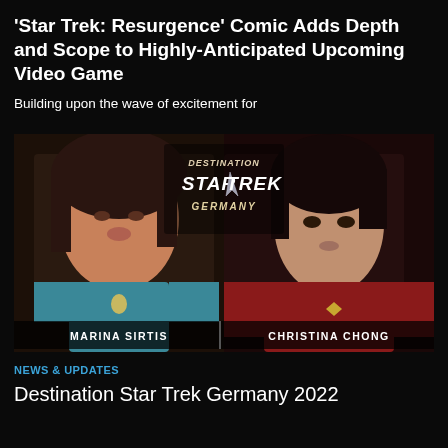'Star Trek: Resurgence' Comic Adds Depth and Scope to Highly-Anticipated Upcoming Video Game
Building upon the wave of excitement for
[Figure (photo): Photo showing two women side by side with 'Destination Star Trek Germany' logo. Left: Marina Sirtis in blue Star Trek uniform. Right: Christina Chong in red Star Trek uniform. Names labeled at bottom: MARINA SIRTIS and CHRISTINA CHONG.]
NEWS & UPDATES
Destination Star Trek Germany 2022